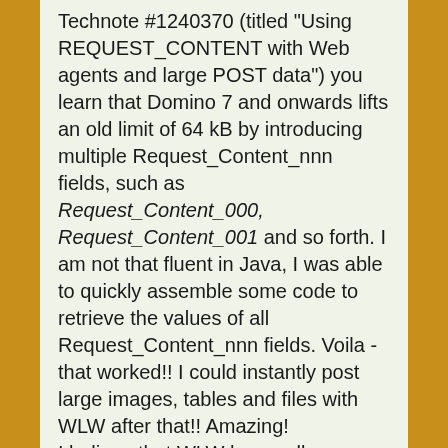Technote #1240370 (titled "Using REQUEST_CONTENT with Web agents and large POST data") you learn that Domino 7 and onwards lifts an old limit of 64 kB by introducing multiple Request_Content_nnn fields, such as Request_Content_000, Request_Content_001 and so forth. I am not that fluent in Java, I was able to quickly assemble some code to retrieve the values of all Request_Content_nnn fields. Voila - that worked!! I could instantly post large images, tables and files with WLW after that!! Amazing!

I believe that WLW has really